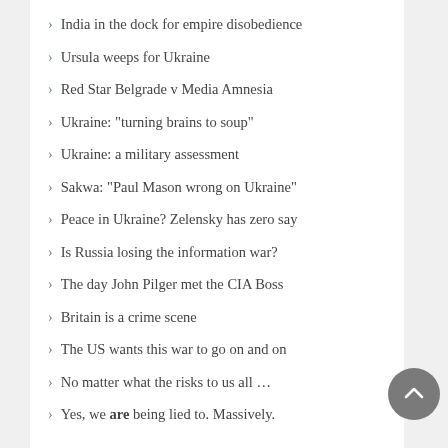India in the dock for empire disobedience
Ursula weeps for Ukraine
Red Star Belgrade v Media Amnesia
Ukraine: “turning brains to soup”
Ukraine: a military assessment
Sakwa: “Paul Mason wrong on Ukraine”
Peace in Ukraine? Zelensky has zero say
Is Russia losing the information war?
The day John Pilger met the CIA Boss
Britain is a crime scene
The US wants this war to go on and on
No matter what the risks to us all …
Yes, we are being lied to. Massively.